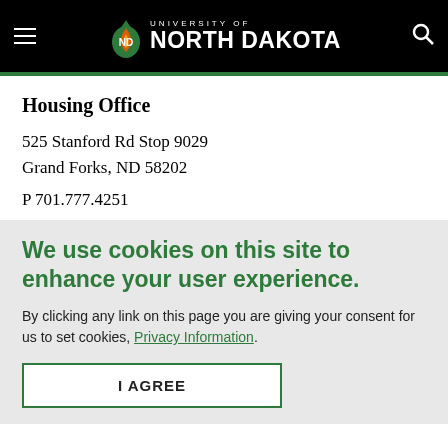University of North Dakota – Housing Office
Housing Office
525 Stanford Rd Stop 9029
Grand Forks, ND 58202
P 701.777.4251
We use cookies on this site to enhance your user experience.
By clicking any link on this page you are giving your consent for us to set cookies, Privacy Information.
I AGREE